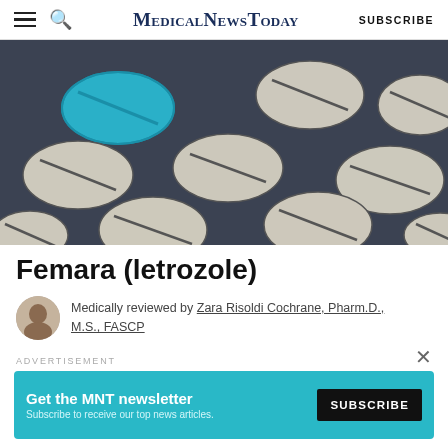MedicalNewsToday  SUBSCRIBE
[Figure (photo): Dark background with multiple illustrated white/gray pill tablets arranged in a pattern; one pill in the upper-left area is highlighted in bright blue/teal.]
Femara (letrozole)
Medically reviewed by Zara Risoldi Cochrane, Pharm.D., M.S., FASCP
ADVERTISEMENT
Get the MNT newsletter
Subscribe to receive our top news articles.
SUBSCRIBE